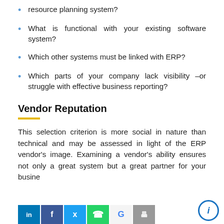resource planning system?
What is functional with your existing software system?
Which other systems must be linked with ERP?
Which parts of your company lack visibility –or struggle with effective business reporting?
Vendor Reputation
This selection criterion is more social in nature than technical and may be assessed in light of the ERP vendor's image. Examining a vendor's ability ensures not only a great system but a great partner for your busine